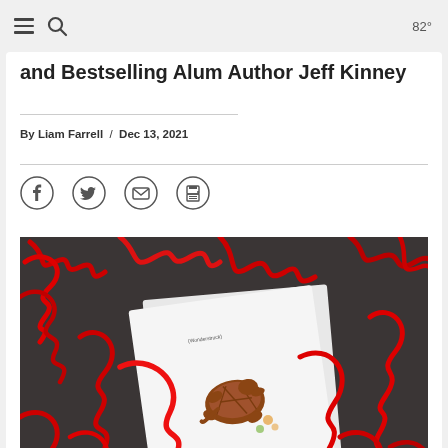82°
and Bestselling Alum Author Jeff Kinney
By Liam Farrell / Dec 13, 2021
[Figure (photo): A book with illustrated turtle cover surrounded by red curly ribbon on a dark fabric background]